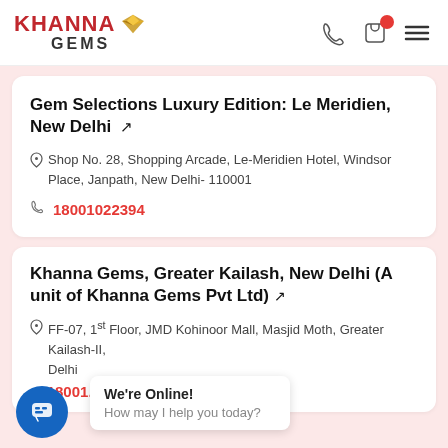Khanna Gems
Gem Selections Luxury Edition: Le Meridien, New Delhi
Shop No. 28, Shopping Arcade, Le-Meridien Hotel, Windsor Place, Janpath, New Delhi- 110001
18001022394
Khanna Gems, Greater Kailash, New Delhi (A unit of Khanna Gems Pvt Ltd)
FF-07, 1st Floor, JMD Kohinoor Mall, Masjid Moth, Greater Kailash-II, Delhi
18001...
We're Online! How may I help you today?